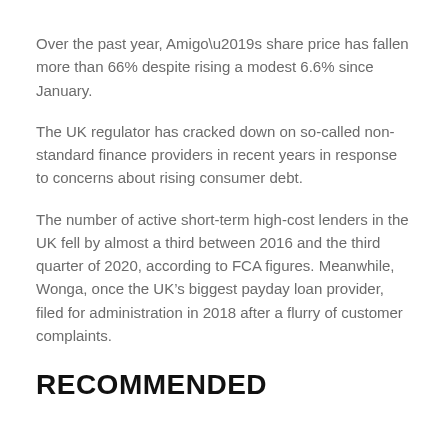Over the past year, Amigo’s share price has fallen more than 66% despite rising a modest 6.6% since January.
The UK regulator has cracked down on so-called non-standard finance providers in recent years in response to concerns about rising consumer debt.
The number of active short-term high-cost lenders in the UK fell by almost a third between 2016 and the third quarter of 2020, according to FCA figures. Meanwhile, Wonga, once the UK’s biggest payday loan provider, filed for administration in 2018 after a flurry of customer complaints.
RECOMMENDED